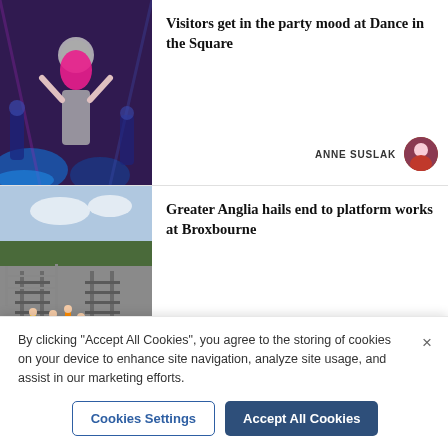[Figure (photo): Performer with pink hair and disco ball head on stage at Dance in the Square event]
Visitors get in the party mood at Dance in the Square
ANNE SUSLAK
[Figure (photo): Aerial view of railway platform construction works at Broxbourne with workers in orange hi-vis]
Greater Anglia hails end to platform works at Broxbourne
WILL DURRANT
By clicking “Accept All Cookies”, you agree to the storing of cookies on your device to enhance site navigation, analyze site usage, and assist in our marketing efforts.
Cookies Settings
Accept All Cookies